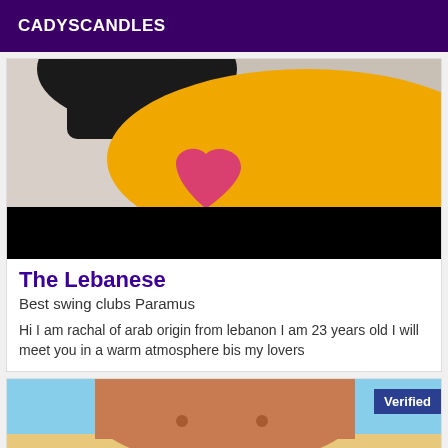CADYSCANDLES
[Figure (photo): A photo showing a person from behind with dark hair, wearing a yellow top with two large pink/red heart shapes overlaid. Below the photo is a black censorship bar.]
The Lebanese
Best swing clubs Paramus
Hi I am rachal of arab origin from lebanon I am 23 years old I will meet you in a warm atmosphere bis my lovers
[Figure (photo): A photo showing a tanned man's torso at a beach. A 'Verified' badge is displayed in the upper right corner of the image.]